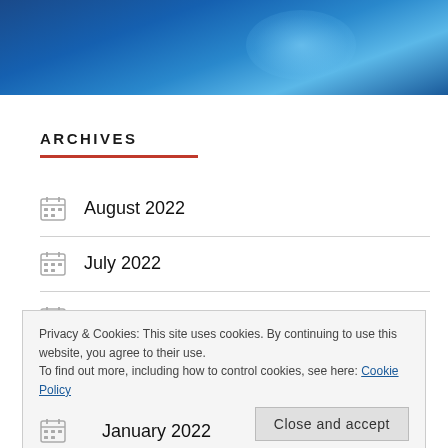[Figure (photo): Blue bokeh/gradient hero banner image at top of page]
ARCHIVES
August 2022
July 2022
April 2022
Privacy & Cookies: This site uses cookies. By continuing to use this website, you agree to their use.
To find out more, including how to control cookies, see here: Cookie Policy
Close and accept
January 2022